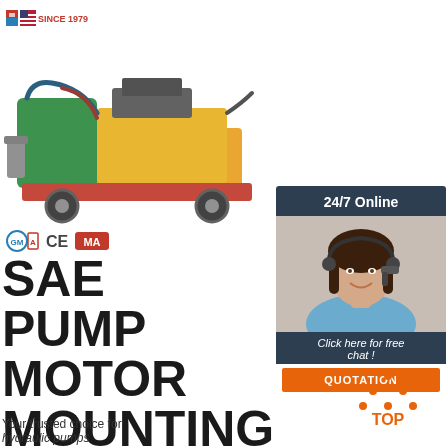[Figure (logo): Company logo with flag icons and text 'SINCE 1979']
[Figure (photo): Hydraulic pump motor machine on wheels, colored yellow/green/red, with hoses]
[Figure (logo): Certification icons: a circular seal, CE mark, and MA logo]
SAE PUMP MOTOR MOUNTING FLANGES AND SHAFTS
Your trusted choice for hydraulic pumps
[Figure (infographic): 24/7 Online chat widget with woman wearing headset, 'Click here for free chat!' and QUOTATION button]
[Figure (infographic): TOP button with orange dotted triangle icon and orange text TOP]